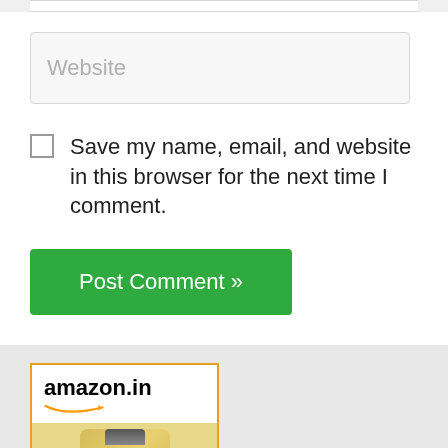[Figure (screenshot): Top portion of a website comment form showing a partially visible input field at the top]
Website
Save my name, email, and website in this browser for the next time I comment.
Post Comment »
[Figure (photo): Amazon.in advertisement banner showing a Makeup Revolution Banana powder product bottle]